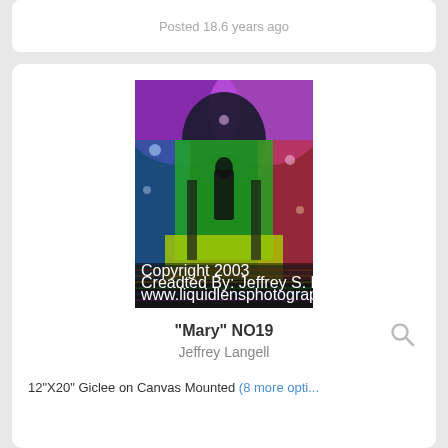Posted 18.6 years ago
[Figure (photo): Artwork photo titled 'Mary' NO19 by Jeffrey Langell — a colorful psychedelic image of a church interior with a statue of Mary, illuminated in rainbow colors (purple arch, green center, blue and red sides). Watermark text reads: Copyright 2003, Creadted By: Jeffrey S. Langell, www.liquidlensphotographicart.com]
"Mary" NO19
Jeffrey Langell
12"X20" Giclee on Canvas Mounted (8 more opti...